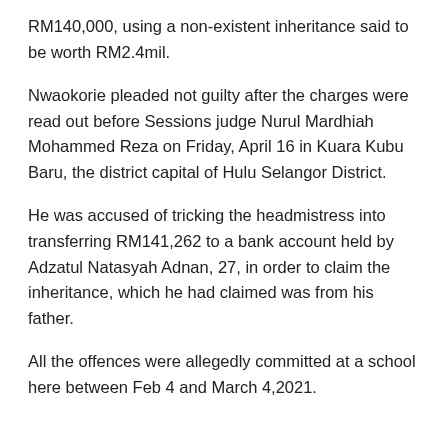RM140,000, using a non-existent inheritance said to be worth RM2.4mil.
Nwaokorie pleaded not guilty after the charges were read out before Sessions judge Nurul Mardhiah Mohammed Reza on Friday, April 16 in Kuara Kubu Baru, the district capital of Hulu Selangor District.
He was accused of tricking the headmistress into transferring RM141,262 to a bank account held by Adzatul Natasyah Adnan, 27, in order to claim the inheritance, which he had claimed was from his father.
All the offences were allegedly committed at a school here between Feb 4 and March 4,2021.
Earlier, deputy public prosecutor Yong Ching Hong applied for a RM10,000 bail with two local sureties on the grounds that the